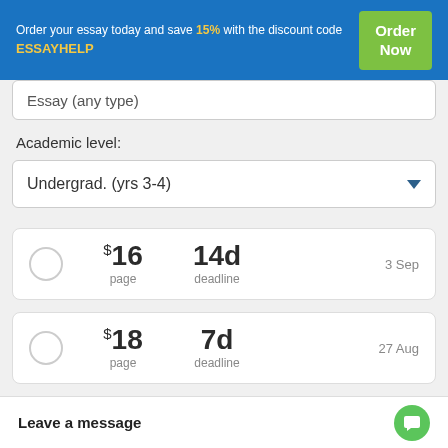Order your essay today and save 15% with the discount code ESSAYHELP
Essay (any type)
Academic level:
Undergrad. (yrs 3-4)
$16 page  14d deadline  3 Sep
$18 page  7d deadline  27 Aug
$19 page  5d deadline  25 Aug
$22 page
Leave a message